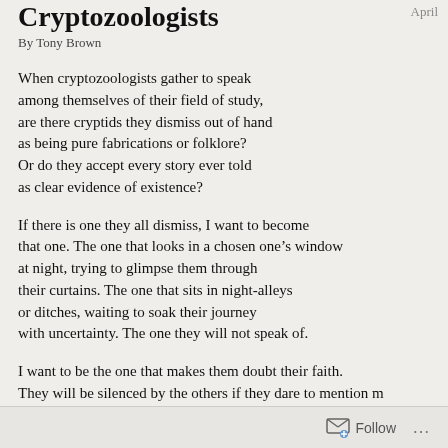Cryptozoologists
By Tony Brown
When cryptozoologists gather to speak
among themselves of their field of study,
are there cryptids they dismiss out of hand
as being pure fabrications or folklore?
Or do they accept every story ever told
as clear evidence of existence?
If there is one they all dismiss, I want to become
that one. The one that looks in a chosen one’s window
at night, trying to glimpse them through
their curtains. The one that sits in night-alleys
or ditches, waiting to soak their journey
with uncertainty. The one they will not speak of.
I want to be the one that makes them doubt their faith.
They will be silenced by the others if they dare to mention m
but the memory of my ratted fur shall be a rebuke to that di
Nightmares about my scaled eyes will haunt their shaming.
My chimeric being shall be their trial by fire —
and if there is not one, if all take all at face value
Follow ...